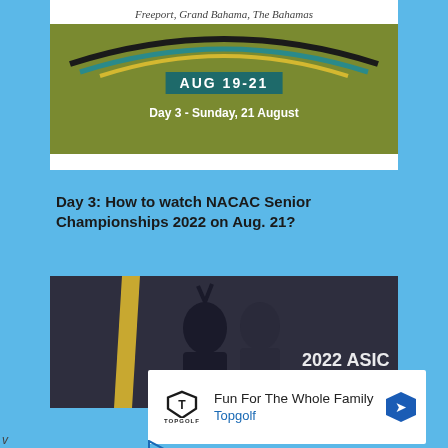[Figure (illustration): NACAC Senior Championships 2022 event banner showing location text 'Freeport, Grand Bahama, The Bahamas', swoosh design in teal/yellow/black, dates 'AUG 19-21' and 'Day 3 - Sunday, 21 August' on olive/green background]
Day 3: How to watch NACAC Senior Championships 2022 on Aug. 21?
[Figure (photo): Athletes celebrating at 2022 ASICS championship event, two people visible, one making peace sign, dark background with gold stripe and partial '2022 ASIC' text visible]
[Figure (infographic): Advertisement for Topgolf: 'Fun For The Whole Family' with Topgolf logo and navigation arrow icon]